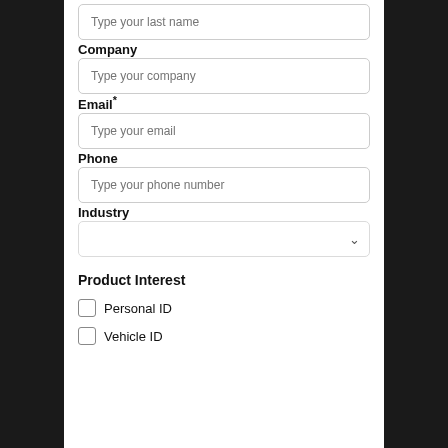Type your last name
Company
Type your company
Email*
Type your email
Phone
Type your phone number
Industry
Product Interest
Personal ID
Vehicle ID